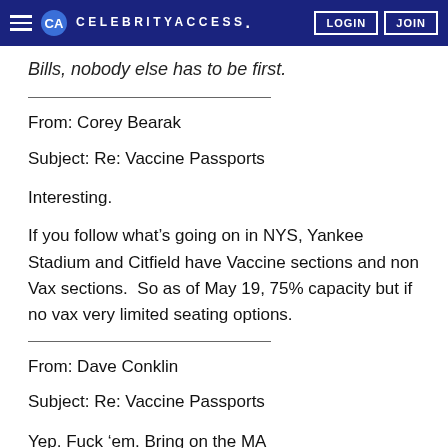CELEBRITYACCESS. LOGIN JOIN
Bills, nobody else has to be first.
From: Corey Bearak
Subject: Re: Vaccine Passports

Interesting.

If you follow what's going on in NYS, Yankee Stadium and Citfield have Vaccine sections and non Vax sections.  So as of May 19, 75% capacity but if no vax very limited seating options.
From: Dave Conklin
Subject: Re: Vaccine Passports

Yep. Fuck 'em. Bring on the MA...
[Figure (screenshot): Video overlay thumbnail showing Netflix Top Boy promotional content with a play button and a caption bar reading 'Leigh-Anne Pinnock plans to move to Greece']